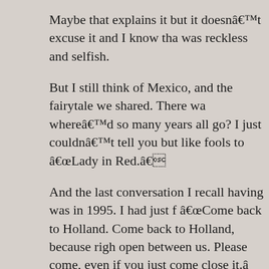Maybe that explains it but it doesnât excuse it and I know tha was reckless and selfish.
But I still think of Mexico, and the fairytale we shared. There wa whereâd so many years all go? I just couldnât tell you but like fools to âLady in Red.â
And the last conversation I recall having was in 1995. I had just f âCome back to Holland. Come back to Holland, because rig open between us. Please come, even if you just come close it.â then you stopped calling and I moved again and we lost touch. A in all these now photos — 32 facial fractures and reconstructive even imagine that. You almost died.
But I know how strong you are â a spirit capable of chasing do thieves in the middle of the Mexican night. And so I wasnât to with your new leg, standing on top of a mountain.
They say youâre married now, with your own little boy and Iâ always thought youâd be a great father. And Iâll